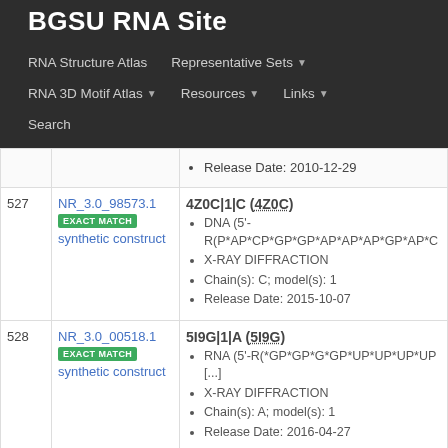BGSU RNA Site
RNA Structure Atlas | Representative Sets | RNA 3D Motif Atlas | Resources | Links | Search
| # | ID | Details |
| --- | --- | --- |
|  |  | Release Date: 2010-12-29 |
| 527 | NR_3.0_98573.1 EXACT MATCH synthetic construct | 4Z0C|1|C (4Z0C)
DNA (5'-R(P*AP*CP*GP*GP*AP*AP*AP*GP*AP*C
X-RAY DIFFRACTION
Chain(s): C; model(s): 1
Release Date: 2015-10-07 |
| 528 | NR_3.0_00518.1 EXACT MATCH synthetic construct | 5I9G|1|A (5I9G)
RNA (5'-R(*GP*GP*G*GP*UP*UP*UP*UP [...]
X-RAY DIFFRACTION
Chain(s): A; model(s): 1
Release Date: 2016-04-27 |